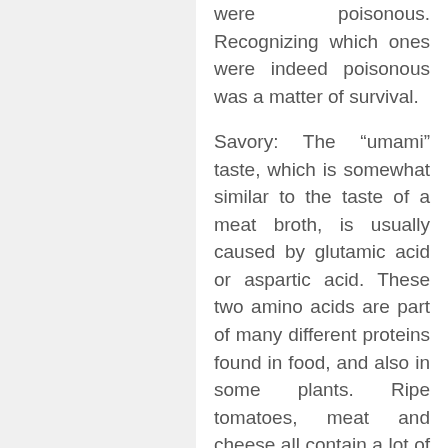were poisonous. Recognizing which ones were indeed poisonous was a matter of survival.
Savory: The “umami” taste, which is somewhat similar to the taste of a meat broth, is usually caused by glutamic acid or aspartic acid. These two amino acids are part of many different proteins found in food, and also in some plants. Ripe tomatoes, meat and cheese all contain a lot of glutamic acid. Asparagus, for example, contains aspartic acid. Chinese cuisine uses glutamato, the glutamic acid